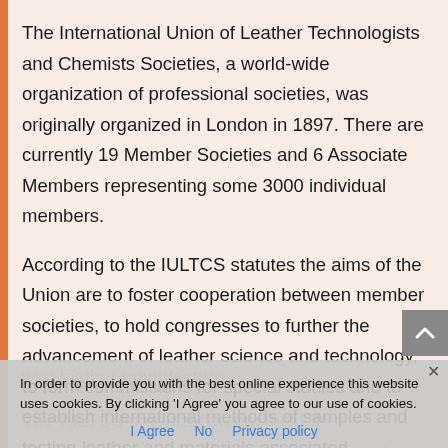The International Union of Leather Technologists and Chemists Societies, a world-wide organization of professional societies, was originally organized in London in 1897. There are currently 19 Member Societies and 6 Associate Members representing some 3000 individual members.
According to the IULTCS statutes the aims of the Union are to foster cooperation between member societies, to hold congresses to further the advancement of leather science and technology, to form commissions for special studies and to establish international methods of samples and testing leather and materials associated with leather manufacture.
The IULTCS organization has held 36 Congresses in twenty different countries on five continents, with the
In order to provide you with the best online experience this website uses cookies. By clicking 'I Agree' you agree to our use of cookies.